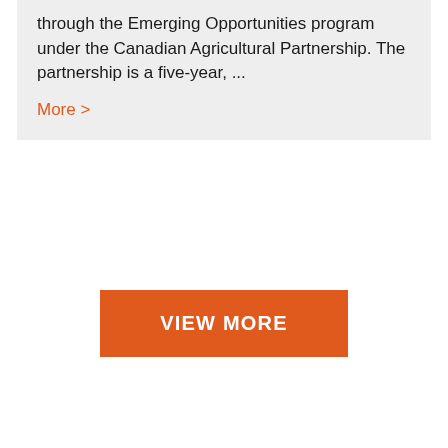through the Emerging Opportunities program under the Canadian Agricultural Partnership. The partnership is a five-year, ...
More >
VIEW MORE